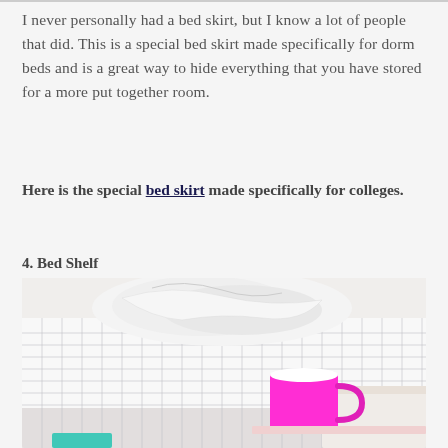I never personally had a bed skirt, but I know a lot of people that did. This is a special bed skirt made specifically for dorm beds and is a great way to hide everything that you have stored for a more put together room.
Here is the special bed skirt made specifically for colleges.
4. Bed Shelf
[Figure (photo): A dorm bed with white grid-patterned sheets, a bright pink/magenta mug sitting on what appears to be a bed shelf or side table, with a teal object partially visible at the bottom.]